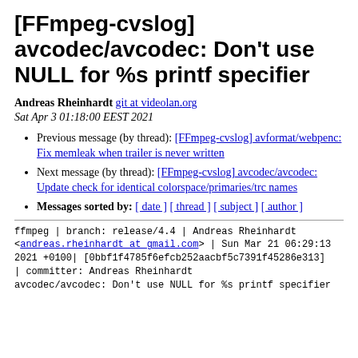[FFmpeg-cvslog] avcodec/avcodec: Don't use NULL for %s printf specifier
Andreas Rheinhardt git at videolan.org
Sat Apr 3 01:18:00 EEST 2021
Previous message (by thread): [FFmpeg-cvslog] avformat/webpenc: Fix memleak when trailer is never written
Next message (by thread): [FFmpeg-cvslog] avcodec/avcodec: Update check for identical colorspace/primaries/trc names
Messages sorted by: [ date ] [ thread ] [ subject ] [ author ]
ffmpeg | branch: release/4.4 | Andreas Rheinhardt <andreas.rheinhardt at gmail.com> | Sun Mar 21 06:29:13 2021 +0100| [0bbf1f4785f6efcb252aacbf5c7391f45286e313] | committer: Andreas Rheinhardt
avcodec/avcodec: Don't use NULL for %s printf specifier